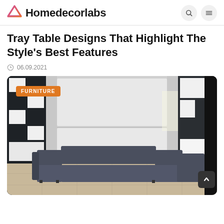Homedecorlabs
Tray Table Designs That Highlight The Style's Best Features
06.09.2021
[Figure (photo): Interior room photo showing a modern fold-down Murphy bed system surrounded by modular white and dark shelving units, with a dark grey L-shaped sofa in front, on light tile flooring. An orange 'FURNITURE' badge overlays the top-left of the image.]